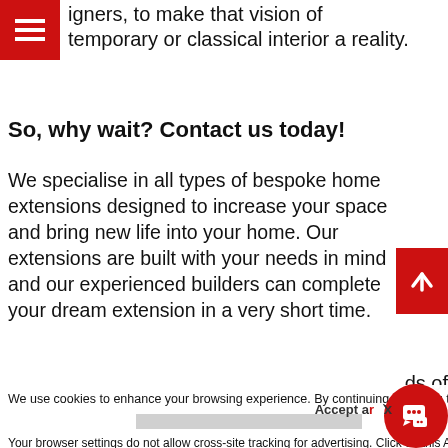[Figure (other): Red hamburger menu icon (navigation) top-left corner]
igners, to make that vision of temporary or classical interior a reality.
So, why wait? Contact us today!
We specialise in all types of bespoke home extensions designed to increase your space and bring new life into your home. Our extensions are built with your needs in mind and our experienced builders can complete your dream extension in a very short time.
[Figure (other): Red scroll-to-top arrow button on right edge]
We use cookies to enhance your browsing experience. By continuing browsing the site you are agreeing to our use of cookies. Learn more
Your browser settings do not allow cross-site tracking for advertising. Click on this AdRoll to use cross-site tracking to tailor ads to you. Learn more or opt out of this AdRoll by clicking here. This message only appears once.
[Figure (other): Red circular chat/messenger button bottom-right]